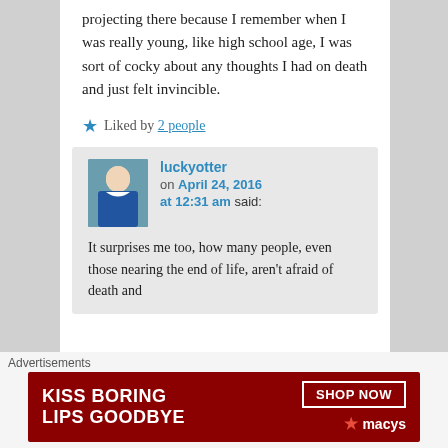projecting there because I remember when I was really young, like high school age, I was sort of cocky about any thoughts I had on death and just felt invincible.
★ Liked by 2 people
luckyotter on April 24, 2016 at 12:31 am said:
It surprises me too, how many people, even those nearing the end of life, aren't afraid of death and
Advertisements
[Figure (photo): Macy's advertisement banner: 'KISS BORING LIPS GOODBYE' with SHOP NOW button and Macy's star logo on a dark red background]